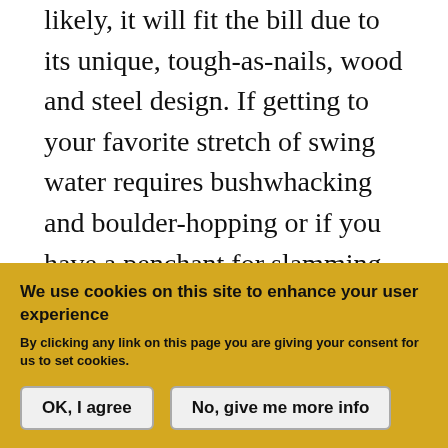likely, it will fit the bill due to its unique, tough-as-nails, wood and steel design. If getting to your favorite stretch of swing water requires bushwhacking and boulder-hopping or if you have a penchant for slamming the tailgate of your truck on your gear, you should probably look in this direction.

Hex's Steelhead Reach net marries an oak hardwood handle with a basket made entirely from spring steel. Spring steel, if you're not already familiar with it, is
We use cookies on this site to enhance your user experience
By clicking any link on this page you are giving your consent for us to set cookies.